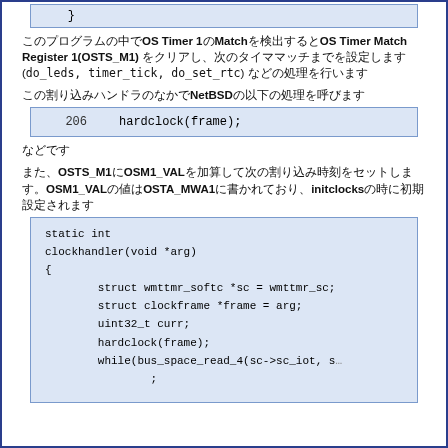[Figure (screenshot): Code block showing closing brace '}']
このプログラムの中でOS Timer 1のMatchを検出するとOS Timer Match Register 1(OSTS_M1) をクリアし、次のタイママッチまでを設定します (do_leds, timer_tick, do_set_rtc) などの処理を行います
この割り込みハンドラのなかでNetBSDの以下の処理を呼びます
[Figure (screenshot): Code line: 206    hardclock(frame);]
などです
また、OSTS_M1にOSM1_VALを加算して次の割り込み時刻をセットします。OSM1_VALの値はOSTA_MWA1に書かれており、initclocksの時に初期設定されます
[Figure (screenshot): Code block showing clockhandler function definition with static int, void *arg, struct wmttmr_softc, struct clockframe, uint32_t curr, hardclock(frame), while(bus_space_read_4...)]